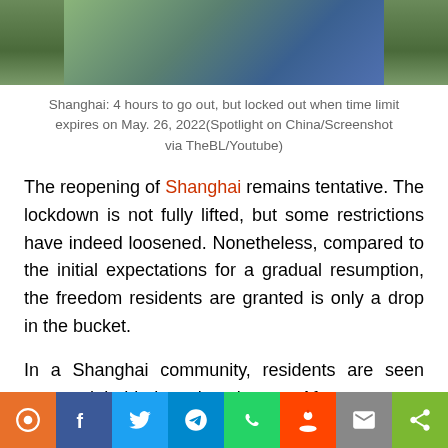[Figure (photo): Photo showing people or scene related to Shanghai lockdown, appears as a blurred/cropped image strip at top of page]
Shanghai: 4 hours to go out, but locked out when time limit expires on May. 26, 2022(Spotlight on China/Screenshot via TheBL/Youtube)
The reopening of Shanghai remains tentative. The lockdown is not fully lifted, but some restrictions have indeed loosened. Nonetheless, compared to the initial expectations for a gradual resumption, the freedom residents are granted is only a drop in the bucket.
In a Shanghai community, residents are seen cramped behind a closed gate. After a person behind the gate signaled time, the gates opened, and those waiting inside immediately rushed out. Most of them were on foot, while som